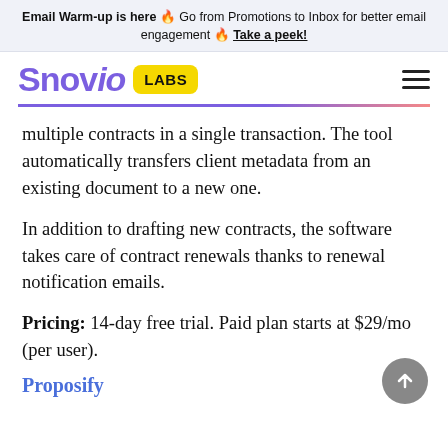Email Warm-up is here 🔥 Go from Promotions to Inbox for better email engagement 🔥 Take a peek!
[Figure (logo): Snov.io Labs logo with purple Snov.io text and yellow LABS badge, plus hamburger menu icon on the right]
multiple contracts in a single transaction. The tool automatically transfers client metadata from an existing document to a new one.
In addition to drafting new contracts, the software takes care of contract renewals thanks to renewal notification emails.
Pricing: 14-day free trial. Paid plan starts at $29/mo (per user).
Proposify